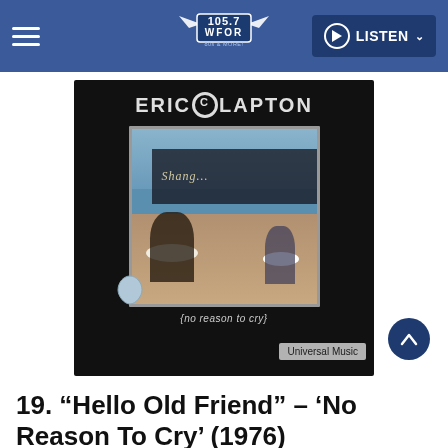105.7 WFOR - 80s & More! | LISTEN
[Figure (photo): Eric Clapton 'No Reason To Cry' album cover featuring two people in hats at a table, with Universal Music watermark]
19. “Hello Old Friend” – ‘No Reason To Cry’ (1976)